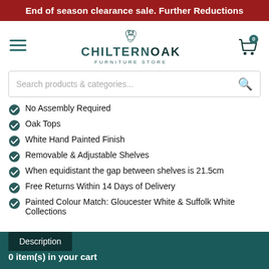End of season clearance sale. Further Reductions
[Figure (logo): Chiltern Oak Furniture Store logo with squirrel icon]
Search products & categories...
No Assembly Required
Oak Tops
White Hand Painted Finish
Removable & Adjustable Shelves
When equidistant the gap between shelves is 21.5cm
Free Returns Within 14 Days of Delivery
Painted Colour Match: Gloucester White & Suffolk White Collections
Description   0 item(s) in your cart